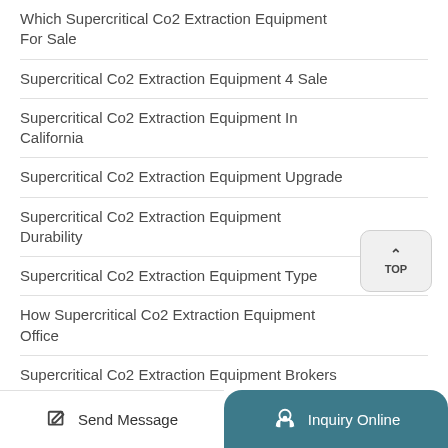Which Supercritical Co2 Extraction Equipment For Sale
Supercritical Co2 Extraction Equipment 4 Sale
Supercritical Co2 Extraction Equipment In California
Supercritical Co2 Extraction Equipment Upgrade
Supercritical Co2 Extraction Equipment Durability
Supercritical Co2 Extraction Equipment Type
How Supercritical Co2 Extraction Equipment Office
Supercritical Co2 Extraction Equipment Brokers
Which Supercritical Co2 Extraction Equipment Will
Send Message | Inquiry Online